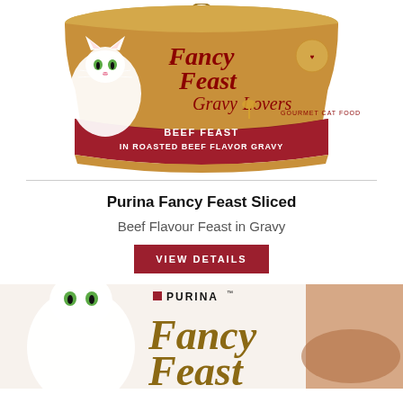[Figure (photo): Fancy Feast Gravy Lovers can - Beef Feast in Roasted Beef Flavor Gravy with a white cat on the label]
Purina Fancy Feast Sliced
Beef Flavour Feast in Gravy
VIEW DETAILS
[Figure (photo): Purina Fancy Feast product packaging with a white cat and food dish visible, showing the Fancy Feast script logo]